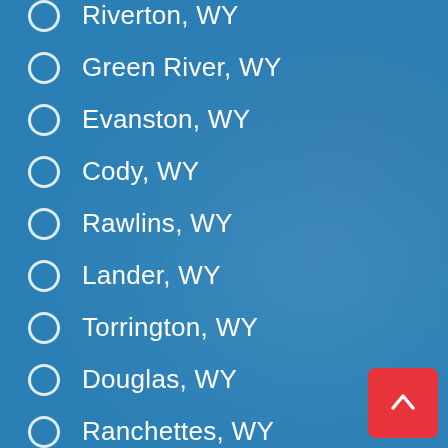Riverton, WY
Green River, WY
Evanston, WY
Cody, WY
Rawlins, WY
Lander, WY
Torrington, WY
Douglas, WY
Ranchettes, WY
Powell, WY
Worland, WY